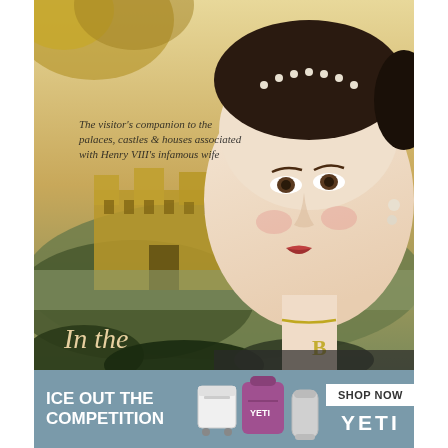[Figure (photo): Book cover image showing a painted portrait of Anne Boleyn (Henry VIII's wife) with a castle landscape in the background. Text overlay reads: 'The visitor's companion to the palaces, castles & houses associated with Henry VIII's infamous wife' and 'In the' at the bottom left.]
[Figure (photo): Advertisement banner for YETI products. Dark teal/grey background with white text 'ICE OUT THE COMPETITION' on the left, product images (coolers, bag, tumbler) in the center, 'SHOP NOW' button, and 'YETI' logo on the right.]